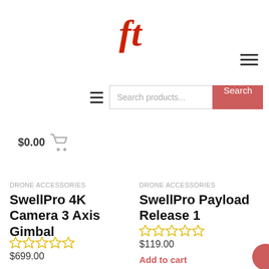[Figure (logo): Red stylized 'ft' logo mark in serif font]
[Figure (other): Hamburger menu icon top-right]
[Figure (other): Search bar with hamburger icon, text input 'Search products...' and red Search button]
$0.00 (cart icon)
Drone Accessories
SwellPro 4K Camera 3 Axis Gimbal
[Figure (other): 5 empty star rating]
$699.00
Drone Accessories
SwellPro Payload Release 1
[Figure (other): 5 empty star rating]
$119.00
Add to cart